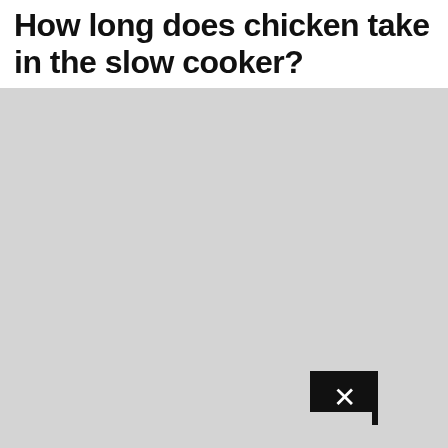How long does chicken take in the slow cooker?
[Figure (photo): Large light gray placeholder image area with a black close/dismiss button (X icon) positioned in the upper-right area of the image. A partial gray image strip is visible at the bottom of the page.]